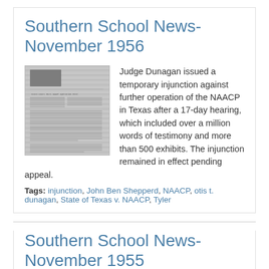Southern School News- November 1956
[Figure (photo): Thumbnail image of Southern School News newspaper page from November 1956]
Judge Dunagan issued a temporary injunction against further operation of the NAACP in Texas after a 17-day hearing, which included over a million words of testimony and more than 500 exhibits. The injunction remained in effect pending appeal.
Tags: injunction, John Ben Shepperd, NAACP, otis t. dunagan, State of Texas v. NAACP, Tyler
Southern School News- November 1955